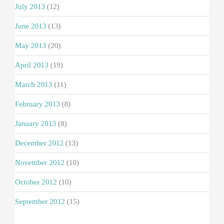July 2013 (12)
June 2013 (13)
May 2013 (20)
April 2013 (19)
March 2013 (11)
February 2013 (8)
January 2013 (8)
December 2012 (13)
November 2012 (10)
October 2012 (10)
September 2012 (15)